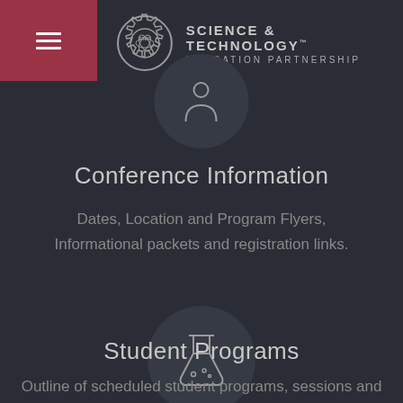SCIENCE & TECHNOLOGY EDUCATION PARTNERSHIP™
Conference Information
Dates, Location and Program Flyers, Informational packets and registration links.
[Figure (illustration): Flask/beaker icon inside a dark circle, representing Student Programs section]
Student Programs
Outline of scheduled student programs, sessions and